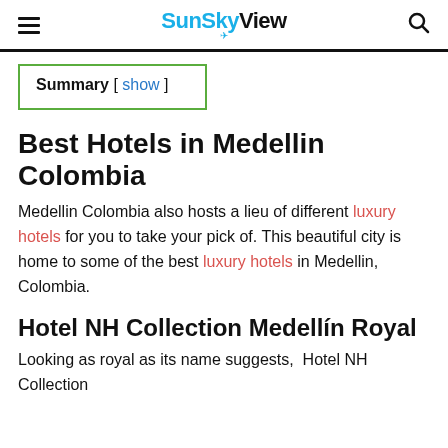SunSkyView
Summary [ show ]
Best Hotels in Medellin Colombia
Medellin Colombia also hosts a lieu of different luxury hotels for you to take your pick of. This beautiful city is home to some of the best luxury hotels in Medellin, Colombia.
Hotel NH Collection Medellín Royal
Looking as royal as its name suggests,  Hotel NH Collection